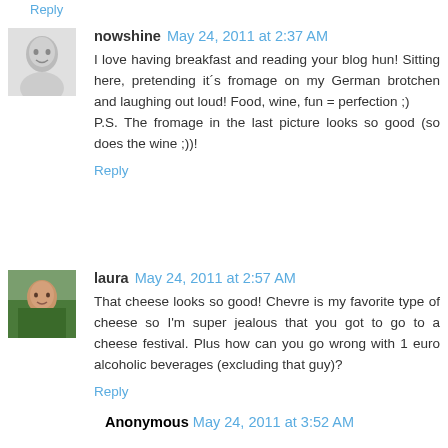Reply
[Figure (photo): Black and white avatar photo of nowshine user]
nowshine May 24, 2011 at 2:37 AM
I love having breakfast and reading your blog hun! Sitting here, pretending it´s fromage on my German brotchen and laughing out loud! Food, wine, fun = perfection ;)
P.S. The fromage in the last picture looks so good (so does the wine ;))!
Reply
[Figure (photo): Color avatar photo of laura user]
laura May 24, 2011 at 2:57 AM
That cheese looks so good! Chevre is my favorite type of cheese so I'm super jealous that you got to go to a cheese festival. Plus how can you go wrong with 1 euro alcoholic beverages (excluding that guy)?
Reply
Anonymous May 24, 2011 at 3:52 AM